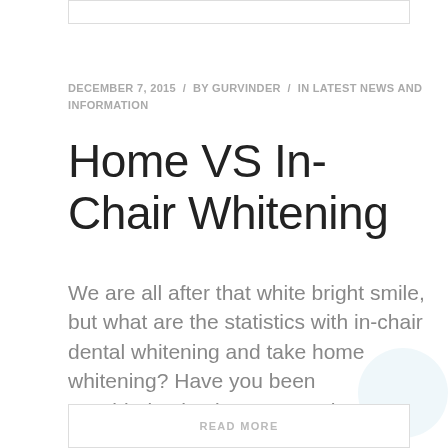DECEMBER 7, 2015 / BY GURVINDER / IN LATEST NEWS AND INFORMATION
Home VS In-Chair Whitening
We are all after that white bright smile, but what are the statistics with in-chair dental whitening and take home whitening? Have you been considering having your teeth whitened? With so many options out there, it is best to know that the highest quality and safest treatments are from your dentist. Here at Carnegie Dental
READ MORE